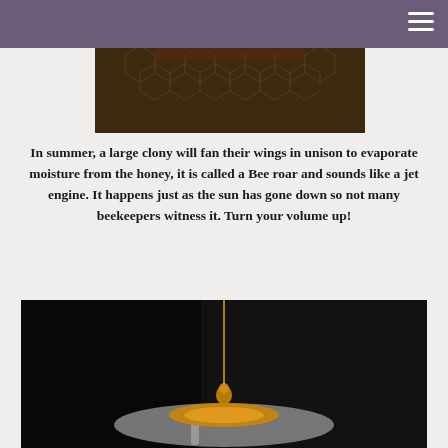[Figure (photo): Dark close-up photo of a honeycomb with bees on it, centered at top of page]
In summer, a large clony will fan their wings in unison to evaporate moisture from the honey, it is called a Bee roar and sounds like a jet engine. It happens just as the sun has gone down so not many beekeepers witness it. Turn your volume up!
[Figure (photo): Close-up dark photo of honey being drizzled onto a silver spoon against a black background]